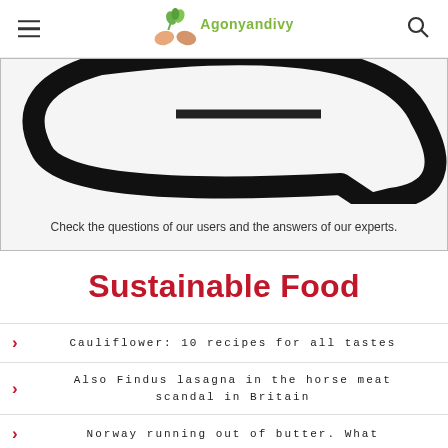Agonyandivy
[Figure (illustration): Partial view of a speech bubble / chat icon in black outline on white/grey background]
Check the questions of our users and the answers of our experts.
Sustainable Food
Cauliflower: 10 recipes for all tastes
Also Findus lasagna in the horse meat scandal in Britain
Norway running out of butter. What